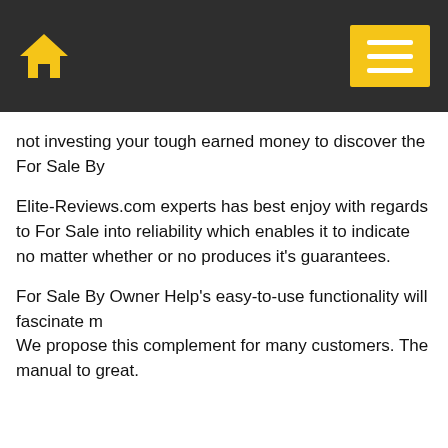Home | Menu
not investing your tough earned money to discover the For Sale By
Elite-Reviews.com experts has best enjoy with regards to For Sale into reliability which enables it to indicate no matter whether or no produces it's guarantees. For Sale By Owner Help's easy-to-use functionality will fascinate m We propose this complement for many customers. The manual to great.